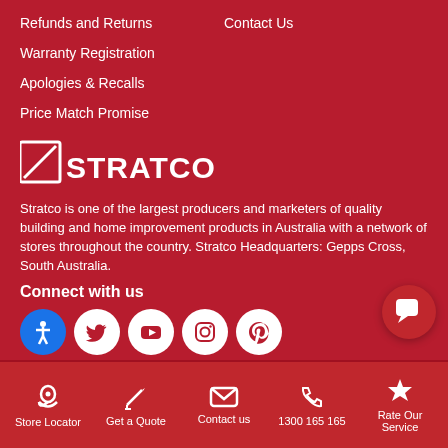Refunds and Returns
Contact Us
Warranty Registration
Apologies & Recalls
Price Match Promise
[Figure (logo): Stratco logo — white stylized text on dark red background]
Stratco is one of the largest producers and marketers of quality building and home improvement products in Australia with a network of stores throughout the country. Stratco Headquarters: Gepps Cross, South Australia.
Connect with us
[Figure (infographic): Row of social media icons: accessibility, Twitter, YouTube, Instagram, Pinterest]
Store Locator | Get a Quote | Contact us | 1300 165 165 | Rate Our Service